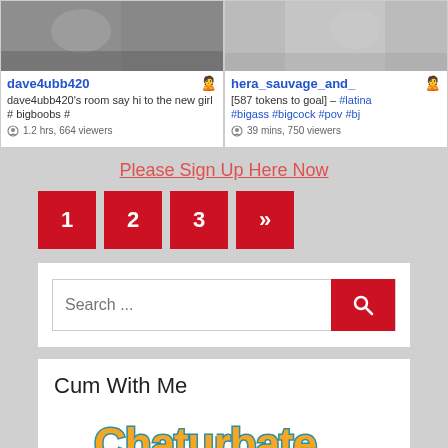[Figure (screenshot): Webcam thumbnail for dave4ubb420]
dave4ubb420
dave4ubb420's room say hi to the new girl # bigboobs #
1.2 hrs, 664 viewers
[Figure (screenshot): Webcam thumbnail for hera_sauvage_and_]
hera_sauvage_and_
[587 tokens to goal] – #latina #bigass #bigcock #pov #bj
39 mins, 750 viewers
Please Sign Up Here Now
1
2
3
»
Search ...
Cum With Me
[Figure (logo): Chaturbate logo in orange and teal graffiti style lettering]